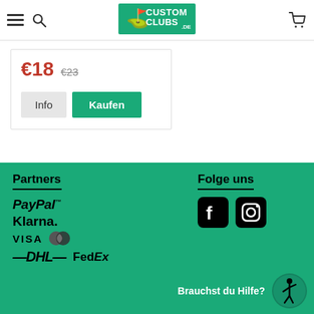Custom Clubs DE - navigation header with menu, search, logo, cart
€18  €23
Info  Kaufen
[Figure (logo): Partners section with PayPal, Klarna, VISA, Mastercard, DHL, FedEx logos on green background]
[Figure (logo): Folge uns section with Facebook and Instagram social icons on green background]
Brauchst du Hilfe?